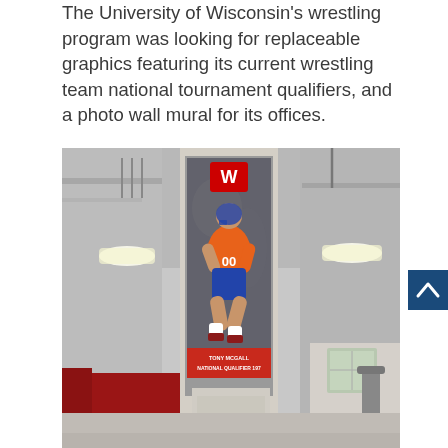The University of Wisconsin's wrestling program was looking for replaceable graphics featuring its current wrestling team national tournament qualifiers, and a photo wall mural for its offices.
[Figure (photo): Interior gymnasium photo showing a column wrapped with a large athletic banner graphic of a Wisconsin Badgers wrestler in action pose. The banner shows a wrestler in red and blue uniform with the Wisconsin 'W' logo at top, and text at the bottom reading 'Tony McGall, National Qualifier 197'. The gym has industrial ceiling with lights, and red wall padding visible in the background.]